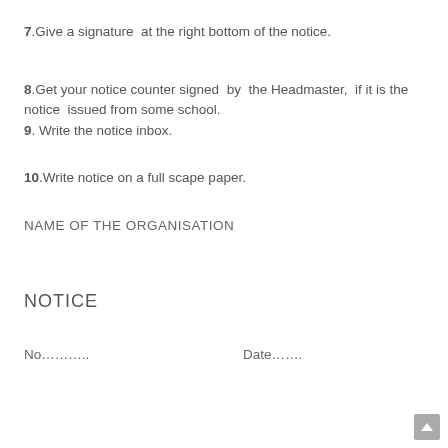7.Give a signature  at the right bottom of the notice.
8.Get your notice counter signed  by  the Headmaster,  if it is the notice  issued from some school.
9. Write the notice inbox.
10.Write notice on a full scape paper.
NAME OF THE ORGANISATION
NOTICE
No………                    Date…….